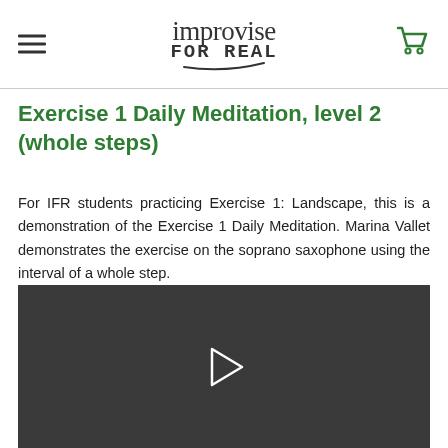improvise FOR REAL
Exercise 1 Daily Meditation, level 2 (whole steps)
For IFR students practicing Exercise 1: Landscape, this is a demonstration of the Exercise 1 Daily Meditation. Marina Vallet demonstrates the exercise on the soprano saxophone using the interval of a whole step.
[Figure (screenshot): Video player with dark background and white play button triangle in center]